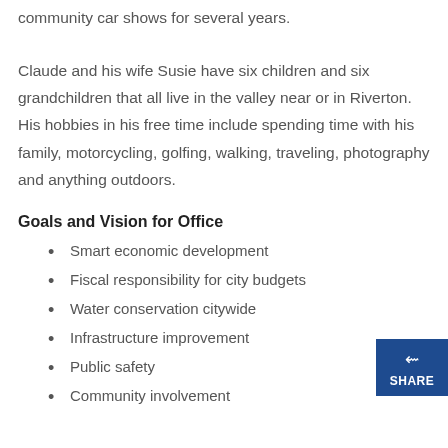community car shows for several years.
Claude and his wife Susie have six children and six grandchildren that all live in the valley near or in Riverton. His hobbies in his free time include spending time with his family, motorcycling, golfing, walking, traveling, photography and anything outdoors.
Goals and Vision for Office
Smart economic development
Fiscal responsibility for city budgets
Water conservation citywide
Infrastructure improvement
Public safety
Community involvement